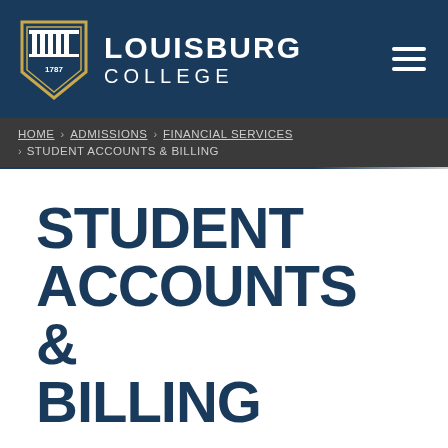[Figure (logo): Louisburg College logo with shield and text]
HOME > ADMISSIONS > FINANCIAL SERVICES > STUDENT ACCOUNTS & BILLING
STUDENT ACCOUNTS & BILLING
Louisburg College is committed to